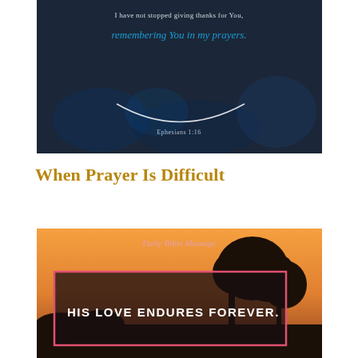[Figure (illustration): Dark background photo of a crowd with text overlay: 'I have not stopped giving thanks for You, remembering You in my prayers.' in cursive blue, with a white smile arc and reference Ephesians 1:16 at bottom]
When Prayer Is Difficult
[Figure (illustration): Sunset/dusk landscape photo with tree silhouette, 'Daily Bible Message' in cursive pink at top, and a red-bordered box containing bold white text 'HIS LOVE ENDURES FOREVER.']